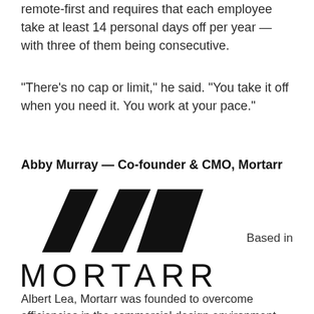remote-first and requires that each employee take at least 14 personal days off per year — with three of them being consecutive.
“There’s no cap or limit,” he said. “You take it off when you need it. You work at your pace.”
Abby Murray — Co-founder & CMO, Mortarr
[Figure (logo): Mortarr logo mark: three overlapping parallelogram/diamond shapes in black, arranged horizontally]
Based in
[Figure (logo): Mortarr wordmark in large spaced capital letters: MORTARR]
Albert Lea, Mortarr was founded to overcome efficiencies in the commercial design environment online. Abby Murray spoke on what it's like to start a